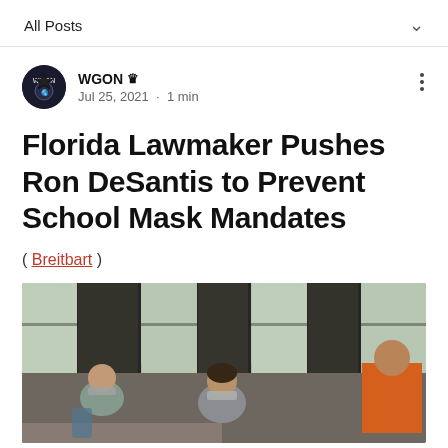All Posts
WGON · Jul 25, 2021 · 1 min
Florida Lawmaker Pushes Ron DeSantis to Prevent School Mask Mandates
( Breitbart )
[Figure (photo): Students in a classroom wearing masks, with a person in an orange shirt visible on the right side, large windows in the background]